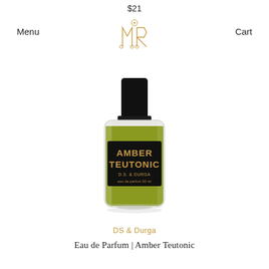$21
Menu
Cart
[Figure (logo): DS & Durga ornate monogram logo in gold]
[Figure (photo): DS & Durga Amber Teutonic Eau de Parfum 50ml bottle — cylindrical clear glass bottle with olive-green liquid, black cap, black label with gold text reading AMBER TEUTONIC, D.S. & DURGA, eau de parfum 50 ml]
DS & Durga
Eau de Parfum | Amber Teutonic